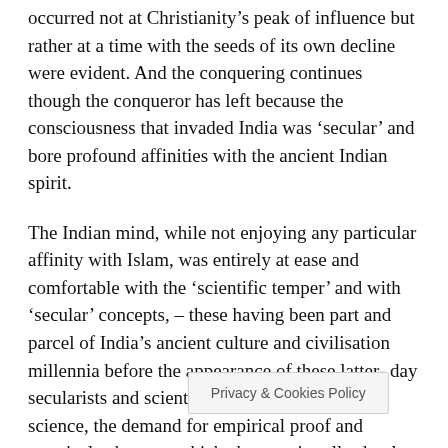occurred not at Christianity's peak of influence but rather at a time with the seeds of its own decline were evident. And the conquering continues though the conqueror has left because the consciousness that invaded India was 'secular' and bore profound affinities with the ancient Indian spirit.
The Indian mind, while not enjoying any particular affinity with Islam, was entirely at ease and comfortable with the 'scientific temper' and with 'secular' concepts, – these having been part and parcel of India's ancient culture and civilisation millennia before the appearance of these latter-day secularists and scientists. Rationalism, logic, science, the demand for empirical proof and practical substance which characterise all schools of Indian yoga, founded on direct experience rather than blind faith, were part of Indian civilisation befo[re…] [W]hen these attitudes arose in the [W…]
Privacy & Cookies Policy